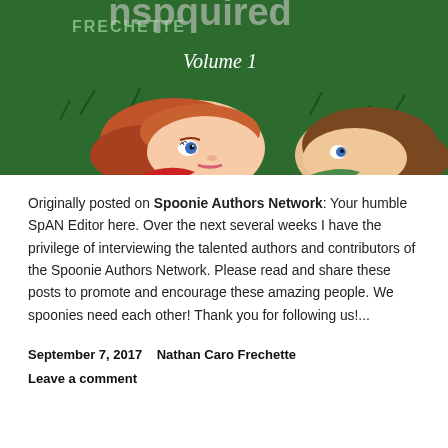[Figure (illustration): Comic book cover illustration showing two characters lying on grass. Text reads 'FRECHETTE' and 'Volume 1' on a dark green background. One character has red hair, the other has brown hair.]
Originally posted on Spoonie Authors Network: Your humble SpAN Editor here. Over the next several weeks I have the privilege of interviewing the talented authors and contributors of the Spoonie Authors Network. Please read and share these posts to promote and encourage these amazing people. We spoonies need each other! Thank you for following us!...
September 7, 2017    Nathan Caro Frechette
Leave a comment